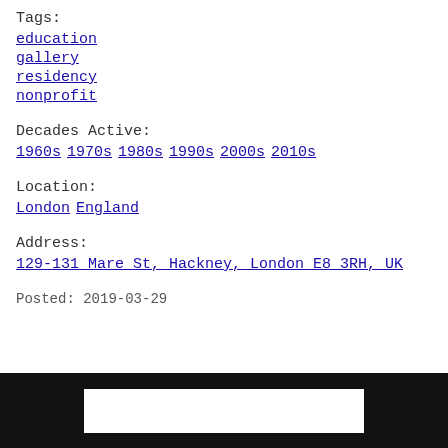Tags:
education
gallery
residency
nonprofit
Decades Active:
1960s 1970s 1980s 1990s 2000s 2010s
Location:
London England
Address:
129-131 Mare St, Hackney, London E8 3RH, UK
Posted: 2019-03-29
[Figure (photo): Partial view of a black-framed image with white interior, cropped at bottom of page]